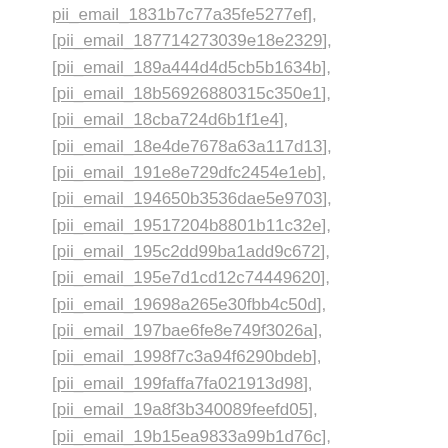[pii_email_1831b7c77a35fe5277ef],
[pii_email_187714273039e18e2329],
[pii_email_189a444d4d5cb5b1634b],
[pii_email_18b56926880315c350e1],
[pii_email_18cba724d6b1f1e4],
[pii_email_18e4de7678a63a117d13],
[pii_email_191e8e729dfc2454e1eb],
[pii_email_194650b3536dae5e9703],
[pii_email_19517204b8801b11c32e],
[pii_email_195c2dd99ba1add9c672],
[pii_email_195e7d1cd12c74449620],
[pii_email_19698a265e30fbb4c50d],
[pii_email_197bae6fe8e749f3026a],
[pii_email_1998f7c3a94f6290bdeb],
[pii_email_199faffa7fa021913d98],
[pii_email_19a8f3b340089feefd05],
[pii_email_19b15ea9833a99b1d76c],
[pii_email_19b613d735e3ca49b638],